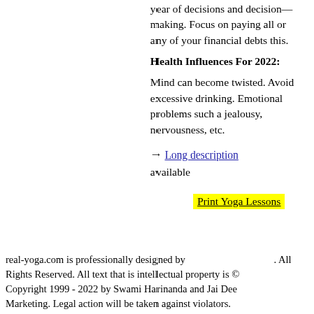year of decisions and decision—making. Focus on paying all or any of your financial debts this.
Health Influences For 2022:
Mind can become twisted. Avoid excessive drinking. Emotional problems such a jealousy, nervousness, etc.
→ Long description available
Print Yoga Lessons
real-yoga.com is professionally designed by . All Rights Reserved. All text that is intellectual property is © Copyright 1999 - 2022 by Swami Harinanda and Jai Dee Marketing. Legal action will be taken against violators.